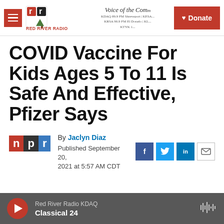Red River Radio | Voice of the Community | Donate
COVID Vaccine For Kids Ages 5 To 11 Is Safe And Effective, Pfizer Says
By Jaclyn Diaz
Published September 20, 2021 at 5:57 AM CDT
Red River Radio KDAQ Classical 24